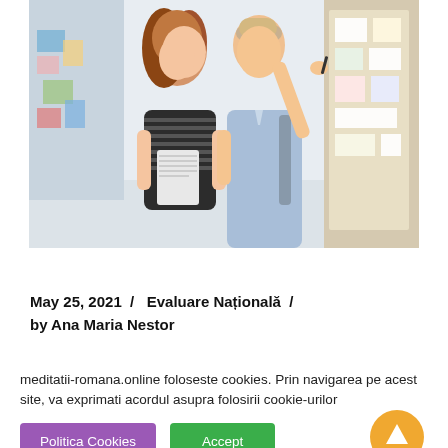[Figure (photo): Two teenagers (a girl with curly hair in a striped shirt and a boy in a light blue shirt with a backpack) looking at a bulletin board in a school corridor. The boy is writing or pointing something on the board.]
May 25, 2021 /  Evaluare Națională  /  by Ana Maria Nestor
meditatii-romana.online foloseste cookies. Prin navigarea pe acest site, va exprimati acordul asupra folosirii cookie-urilor